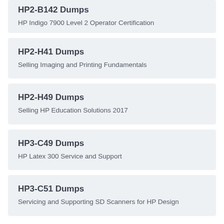HP2-B142 Dumps
HP Indigo 7900 Level 2 Operator Certification
HP2-H41 Dumps
Selling Imaging and Printing Fundamentals
HP2-H49 Dumps
Selling HP Education Solutions 2017
HP3-C49 Dumps
HP Latex 300 Service and Support
HP3-C51 Dumps
Servicing and Supporting SD Scanners for HP Design